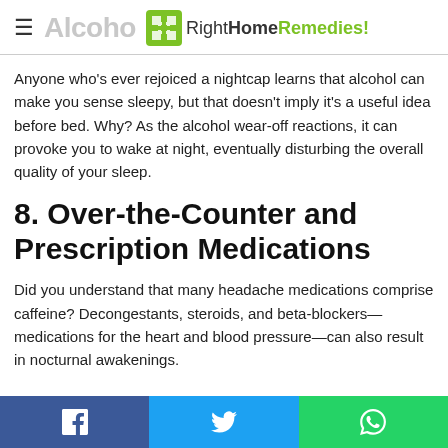≡ Alcohol — RightHomeRemedies!
Anyone who's ever rejoiced a nightcap learns that alcohol can make you sense sleepy, but that doesn't imply it's a useful idea before bed. Why? As the alcohol wear-off reactions, it can provoke you to wake at night, eventually disturbing the overall quality of your sleep.
8. Over-the-Counter and Prescription Medications
Did you understand that many headache medications comprise caffeine? Decongestants, steroids, and beta-blockers—medications for the heart and blood pressure—can also result in nocturnal awakenings.
Facebook | Twitter | WhatsApp